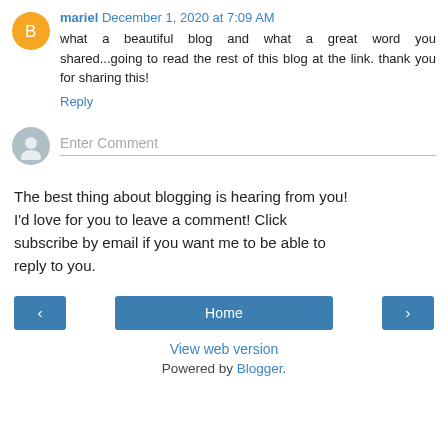mariel December 1, 2020 at 7:09 AM
what a beautiful blog and what a great word you shared...going to read the rest of this blog at the link. thank you for sharing this!
Reply
Enter Comment
The best thing about blogging is hearing from you! I'd love for you to leave a comment! Click subscribe by email if you want me to be able to reply to you.
‹
Home
›
View web version
Powered by Blogger.